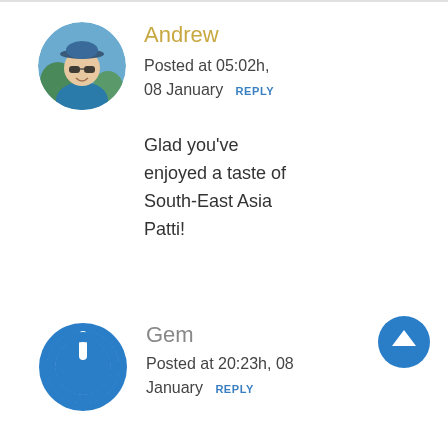[Figure (photo): Circular avatar photo of Andrew, a man wearing sunglasses and a blue cap, smiling outdoors]
Andrew
Posted at 05:02h, 08 January REPLY
Glad you've enjoyed a taste of South-East Asia Patti!
[Figure (logo): Blue circular power/on button icon avatar for user Gem]
Gem
Posted at 20:23h, 08 January REPLY
[Figure (other): Blue circular scroll-to-top button with upward arrow]